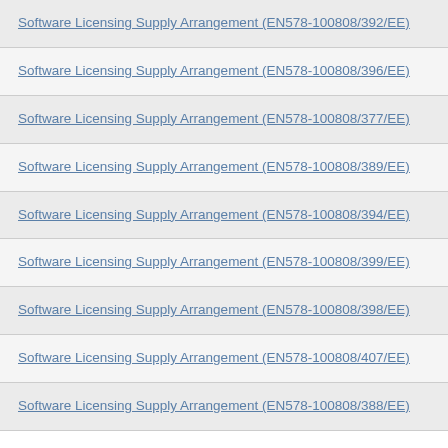Software Licensing Supply Arrangement (EN578-100808/392/EE)
Software Licensing Supply Arrangement (EN578-100808/396/EE)
Software Licensing Supply Arrangement (EN578-100808/377/EE)
Software Licensing Supply Arrangement (EN578-100808/389/EE)
Software Licensing Supply Arrangement (EN578-100808/394/EE)
Software Licensing Supply Arrangement (EN578-100808/399/EE)
Software Licensing Supply Arrangement (EN578-100808/398/EE)
Software Licensing Supply Arrangement (EN578-100808/407/EE)
Software Licensing Supply Arrangement (EN578-100808/388/EE)